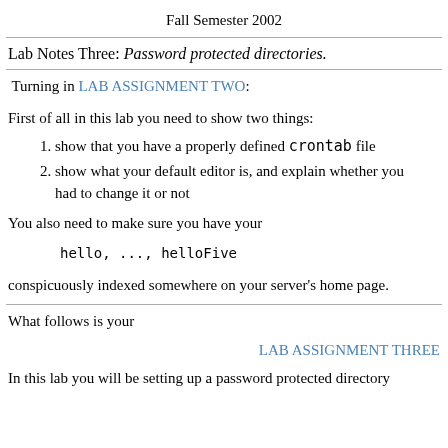Fall Semester 2002
Lab Notes Three: Password protected directories.
Turning in LAB ASSIGNMENT TWO:
First of all in this lab you need to show two things:
show that you have a properly defined crontab file
show what your default editor is, and explain whether you had to change it or not
You also need to make sure you have your
hello, ..., helloFive
conspicuously indexed somewhere on your server's home page.
What follows is your
LAB ASSIGNMENT THREE
In this lab you will be setting up a password protected directory